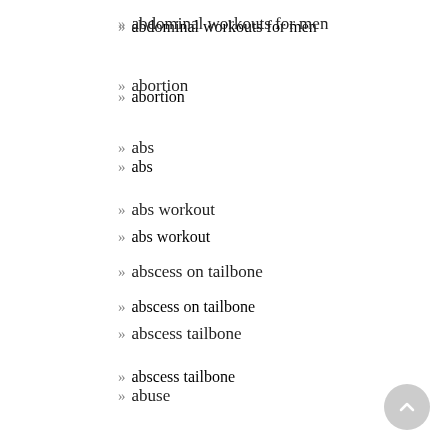» abdominal workouts for men
» abortion
» abs
» abs workout
» abscess on tailbone
» abscess tailbone
» abuse
» Acacia farnesiana
» Acadia
» Acadia National Park
» acai
» Acer spp. (Maple)